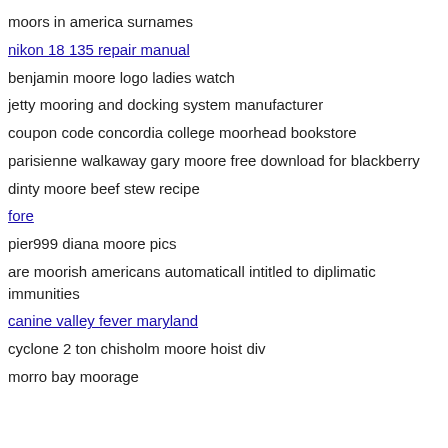moors in america surnames
nikon 18 135 repair manual
benjamin moore logo ladies watch
jetty mooring and docking system manufacturer
coupon code concordia college moorhead bookstore
parisienne walkaway gary moore free download for blackberry
dinty moore beef stew recipe
fore
pier999 diana moore pics
are moorish americans automaticall intitled to diplimatic immunities
canine valley fever maryland
cyclone 2 ton chisholm moore hoist div
morro bay moorage